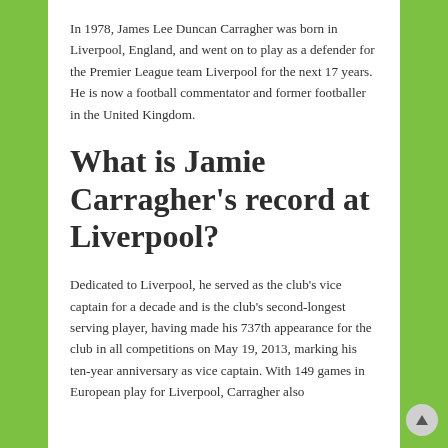In 1978, James Lee Duncan Carragher was born in Liverpool, England, and went on to play as a defender for the Premier League team Liverpool for the next 17 years. He is now a football commentator and former footballer in the United Kingdom.
What is Jamie Carragher's record at Liverpool?
Dedicated to Liverpool, he served as the club's vice captain for a decade and is the club's second-longest serving player, having made his 737th appearance for the club in all competitions on May 19, 2013, marking his ten-year anniversary as vice captain. With 149 games in European play for Liverpool, Carragher also